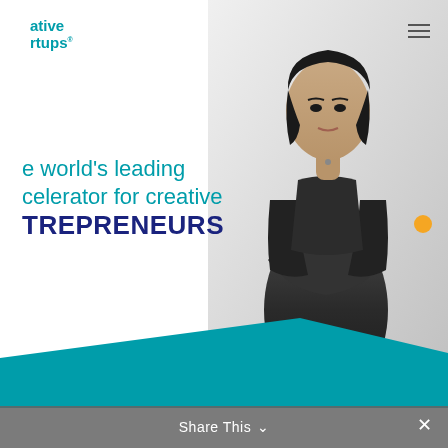ative rtups
[Figure (photo): Black and white photo of a woman in dark clothing with arms crossed, standing confidently against a white background. An orange dot accent appears to her right.]
e world's leading celerator for creative TREPRENEURS
Share This ∨  ✕